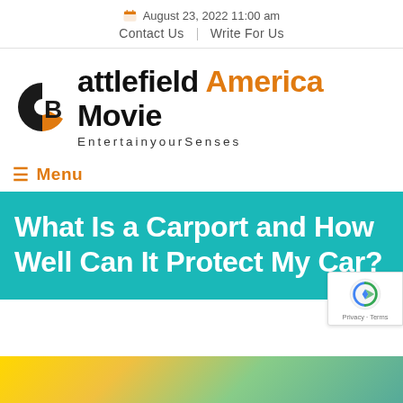August 23, 2022 11:00 am | Contact Us | Write For Us
[Figure (logo): Battlefield America Movie logo with half-circle black and orange icon, text 'Battlefield America Movie' with 'America' in orange, subtitle 'EntertainyourSenses']
≡ Menu
What Is a Carport and How Well Can It Protect My Car?
[Figure (photo): Partial bottom image showing a car scene with yellow and green colors]